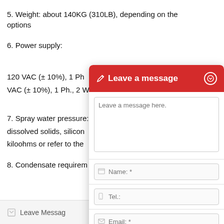5. Weight: about 140KG (310LB), depending on the options
6. Power supply:
120 VAC (± 10%), 1 Ph
VAC (± 10%), 1 Ph., 2 W
7. Spray water pressure:
dissolved solids, silicon
kiloohms or refer to the
8. Condensate requirem
[Figure (screenshot): Leave a message overlay widget with header 'Leave a message', a message textarea with placeholder 'Leave a message here.', Name field, Tel. field, Email field, and a Submit button]
Leave Messag